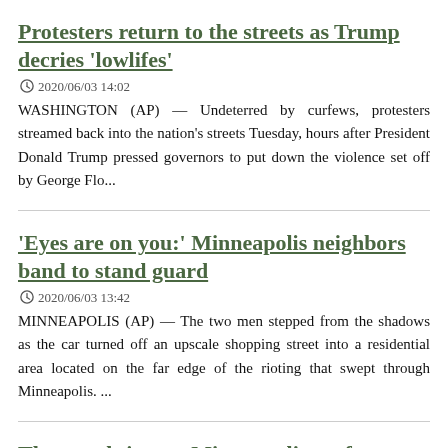Protesters return to the streets as Trump decries 'lowlifes'
2020/06/03 14:02
WASHINGTON (AP) — Undeterred by curfews, protesters streamed back into the nation's streets Tuesday, hours after President Donald Trump pressed governors to put down the violence set off by George Flo...
'Eyes are on you:' Minneapolis neighbors band to stand guard
2020/06/03 13:42
MINNEAPOLIS (AP) — The two men stepped from the shadows as the car turned off an upscale shopping street into a residential area located on the far edge of the rioting that swept through Minneapolis. ...
Thousands ignore Minneapolis curfew as U.S. protests spread